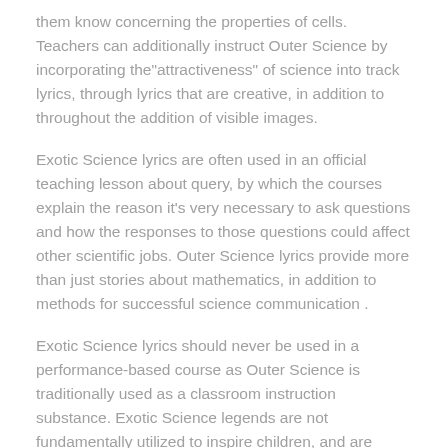them know concerning the properties of cells. Teachers can additionally instruct Outer Science by incorporating the"attractiveness" of science into track lyrics, through lyrics that are creative, in addition to throughout the addition of visible images.
Exotic Science lyrics are often used in an official teaching lesson about query, by which the courses explain the reason it's very necessary to ask questions and how the responses to those questions could affect other scientific jobs. Outer Science lyrics provide more than just stories about mathematics, in addition to methods for successful science communication .
Exotic Science lyrics should never be used in a performance-based course as Outer Science is traditionally used as a classroom instruction substance. Exotic Science legends are not fundamentally utilized to inspire children, and are supposed to boost creativity.